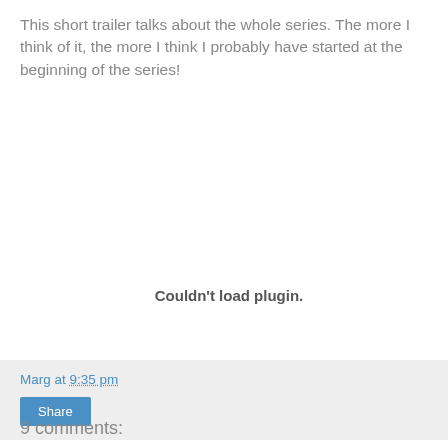This short trailer talks about the whole series. The more I think of it, the more I think I probably have started at the beginning of the series!
[Figure (other): Embedded plugin area showing 'Couldn't load plugin.' message]
Marg at 9:35 pm
Share
9 comments: